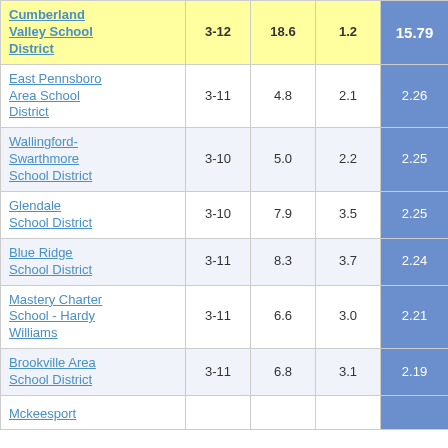| School District | Grades | Col3 | Col4 | Col5 |
| --- | --- | --- | --- | --- |
| Cumberland Valley School District | 3-12 | 18.6 | 1.2 | 15.79 |
| East Pennsboro Area School District | 3-11 | 4.8 | 2.1 | 2.26 |
| Wallingford-Swarthmore School District | 3-10 | 5.0 | 2.2 | 2.25 |
| Glendale School District | 3-10 | 7.9 | 3.5 | 2.25 |
| Blue Ridge School District | 3-11 | 8.3 | 3.7 | 2.24 |
| Mastery Charter School - Hardy Williams | 3-11 | 6.6 | 3.0 | 2.21 |
| Brookville Area School District | 3-11 | 6.8 | 3.1 | 2.19 |
| Mckeesport |  |  |  |  |